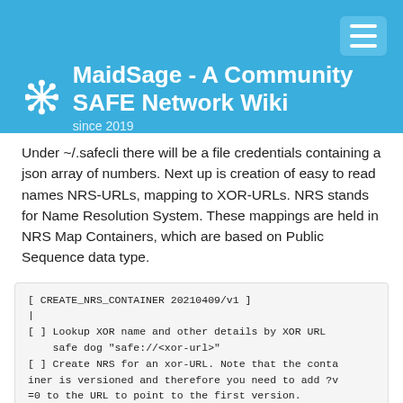MaidSage - A Community SAFE Network Wiki since 2019
Under ~/.safecli there will be a file credentials containing a json array of numbers. Next up is creation of easy to read names NRS-URLs, mapping to XOR-URLs. NRS stands for Name Resolution System. These mappings are held in NRS Map Containers, which are based on Public Sequence data type.
[ CREATE_NRS_CONTAINER 20210409/v1 ]
|
[ ] Lookup XOR name and other details by XOR URL
    safe dog "safe://<xor-url>"
[ ] Create NRS for an xor-URL. Note that the container is versioned and therefore you need to add ?v=0 to the URL to point to the first version.
    safe nrs create -l "safe://<xor-url>?v=<version>" <readble name>
| on fail: Error: NetDataError: Failed to get current version: NetDataError: Failed to retrieve last entry from Sequence data: ErrorMessage(NoSuchData)^
| expect: New NRS Map for "safe://<readable name>"